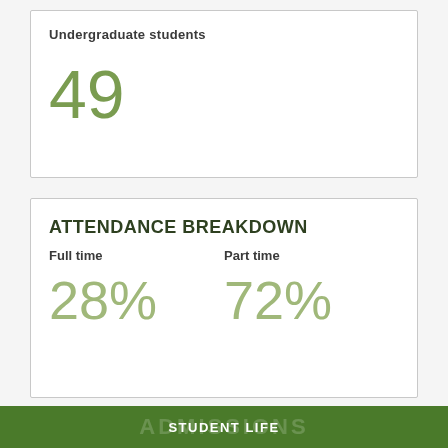Undergraduate students
49
ATTENDANCE BREAKDOWN
Full time
Part time
28%
72%
STUDENT SERVICES
Meal plan
Security
STUDENT LIFE